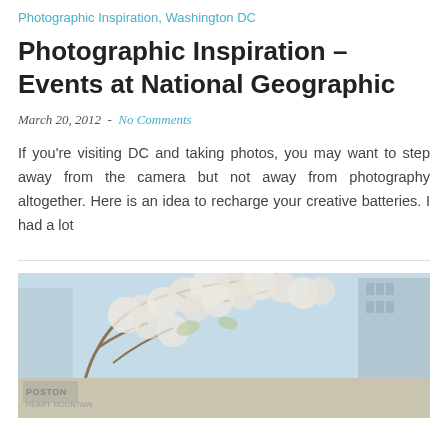Photographic Inspiration, Washington DC
Photographic Inspiration – Events at National Geographic
March 20, 2012  -  No Comments
If you're visiting DC and taking photos, you may want to step away from the camera but not away from photography altogether. Here is an idea to recharge your creative batteries. I had a lot
[Figure (photo): Outdoor photo showing cherry blossom trees with white blooms and a building sign reading 'POSTON' and 'HEART MOUNTAIN' visible in the lower portion, with a modern glass building in the background against a blue sky.]